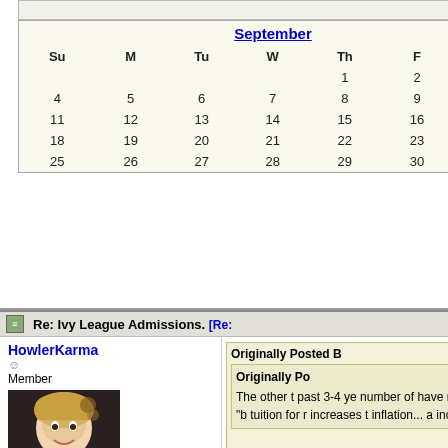[Figure (other): September calendar widget showing month of September with dates 1-30. Sunday the 4th is shown in red.]
intellectual peers where abilities, many of those charging the same price find that fit with a lower your kid is eight that you you see what schools y stick to this when they a
I stick with my original a 529 now. You will be ve comes.
Top
Re: Ivy League Admissions. [Re:
HowlerKarma
Member
Registered: 02/05/11
Posts: 5181
Originally Posted B
Originally Po
The other t past 3-4 ye number of have reneg students "b tuition for r increases t inflation... a increases s